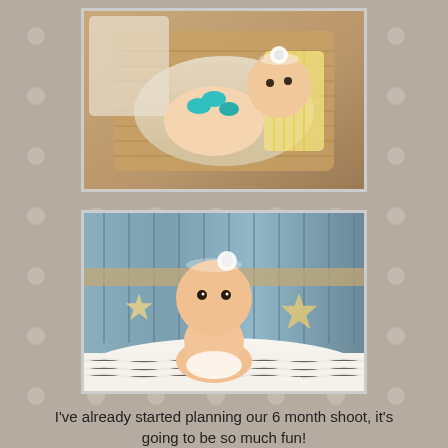[Figure (photo): Baby girl lying in a basket wearing a white flower headband and a yellow striped outfit with turquoise crocheted butterfly decoration, photographed from above on soft beige background]
[Figure (photo): Baby girl on a white fluffy rug in front of a beach-themed backdrop with wooden planks and starfish decorations, wearing a white flower headband, looking at the camera]
I've already started planning our 6 month shoot, it's going to be so much fun!